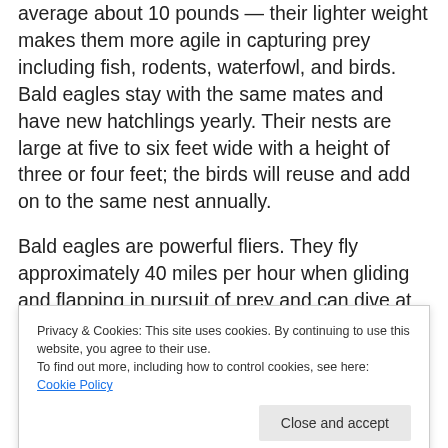average about 10 pounds — their lighter weight makes them more agile in capturing prey including fish, rodents, waterfowl, and birds. Bald eagles stay with the same mates and have new hatchlings yearly. Their nests are large at five to six feet wide with a height of three or four feet; the birds will reuse and add on to the same nest annually.
Bald eagles are powerful fliers. They fly approximately 40 miles per hour when gliding and flapping in pursuit of prey and can dive at speeds of 75 to 100 miles per hour. Their vision is quite remarkable — they are able to see eight
Privacy & Cookies: This site uses cookies. By continuing to use this website, you agree to their use.
To find out more, including how to control cookies, see here: Cookie Policy
they are not picky and will steal food from other birds).